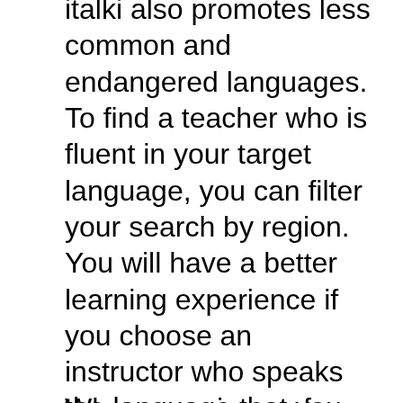italki also promotes less common and endangered languages. To find a teacher who is fluent in your target language, you can filter your search by region. You will have a better learning experience if you choose an instructor who speaks the language that you are interested in learning.
When you sign up for an italki account, you'll need to create a username and password. You can also sign up for an account on Facebook or Google or even WeChat. Italki is free to use, but you'll need to pay to access lessons. After creating a username, you will be taken to a page that allows you to choose the language you want to learn.
Learn to fluently